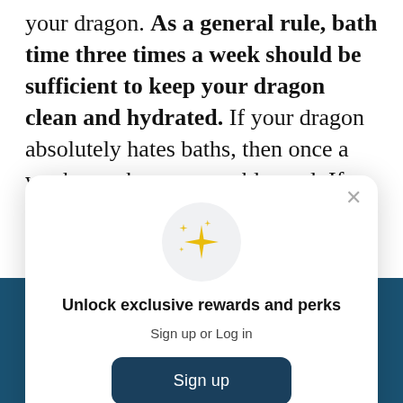your dragon. As a general rule, bath time three times a week should be sufficient to keep your dragon clean and hydrated. If your dragon absolutely hates baths, then once a week may be a reasonable goal. If your dragon can't get enough bath time, you
[Figure (screenshot): A modal popup dialog with a sparkle icon in a gray circle, title 'Unlock exclusive rewards and perks', subtitle 'Sign up or Log in', a dark navy 'Sign up' button, and a footer 'Already have an account? Sign in'. There is an X close button in the top right.]